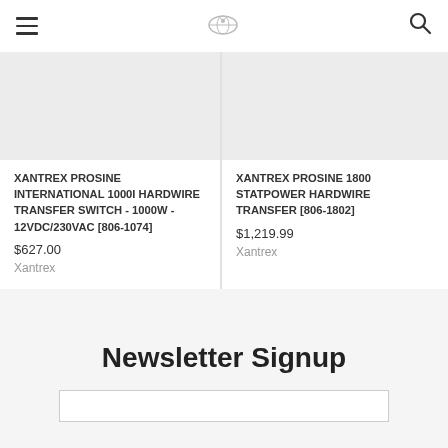Navigation bar with menu icon, logo, and search icon
XANTREX PROSINE INTERNATIONAL 1000I HARDWIRE TRANSFER SWITCH - 1000W - 12VDC/230VAC [806-1074]
$627.00
Xantrex
XANTREX PROSINE 1800 STATPOWER HARDWIRE TRANSFER [806-1802]
$1,219.99
Xantrex
Newsletter Signup